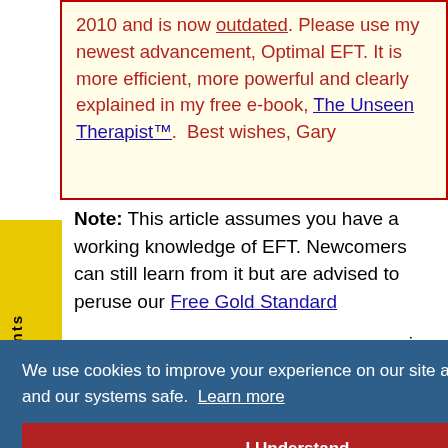2010 and is now outdated. Please use my newest advancement, Optimal EFT. It is more efficient, more powerful and clearly explained in my free e-book, The Unseen Therapist™.  Best wishes, Gary
Note: This article assumes you have a working knowledge of EFT. Newcomers can still learn from it but are advised to peruse our Free Gold Standard (Official) EFT Tutorial for newcomers...
...mming o ed ough such training would be helpful.
We use cookies to improve your experience on our site and to keep you and our systems safe.  Learn more
I Understand